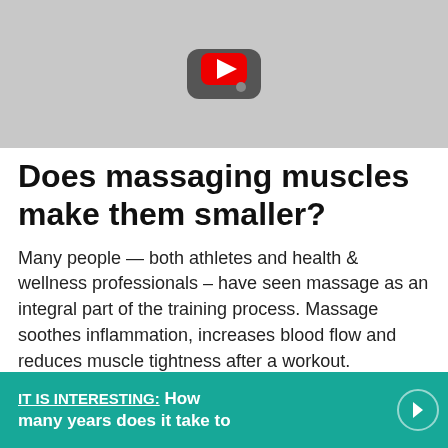[Figure (screenshot): YouTube video thumbnail placeholder showing a YouTube play button icon on a gray background]
Does massaging muscles make them smaller?
Many people — both athletes and health & wellness professionals – have seen massage as an integral part of the training process. Massage soothes inflammation, increases blood flow and reduces muscle tightness after a workout.
IT IS INTERESTING:  How many years does it take to